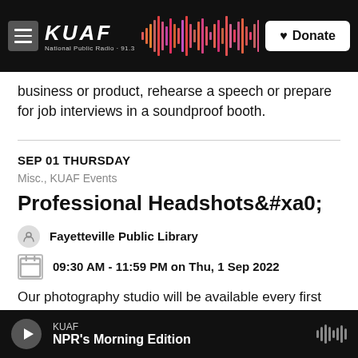KUAF National Public Radio - Donate
business or product, rehearse a speech or prepare for job interviews in a soundproof booth.
SEP 01 THURSDAY
Misc., KUAF Events
Professional Headshots&#xa0;
Fayetteville Public Library
09:30 AM - 11:59 PM on Thu, 1 Sep 2022
Our photography studio will be available every first Thursday of the month for patrons to have a quality
KUAF — NPR's Morning Edition